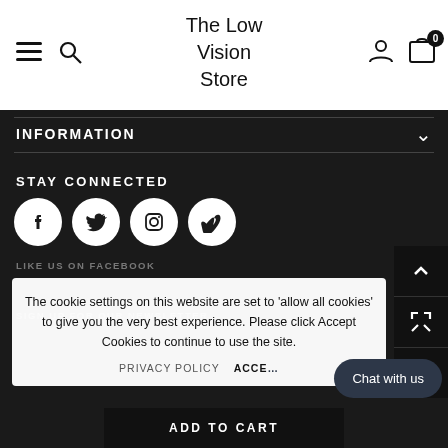The Low Vision Store
INFORMATION
STAY CONNECTED
[Figure (illustration): Four circular social media icon buttons: Facebook (f), Twitter/X (bird), Instagram (camera), Vimeo (V)]
LIKE US ON FACEBOOK
SIGN UP FOR OUR NEWSLETTER
The cookie settings on this website are set to 'allow all cookies' to give you the very best experience. Please click Accept Cookies to continue to use the site.
PRIVACY POLICY   ACCEPT COOKIES
Chat with us
ADD TO CART